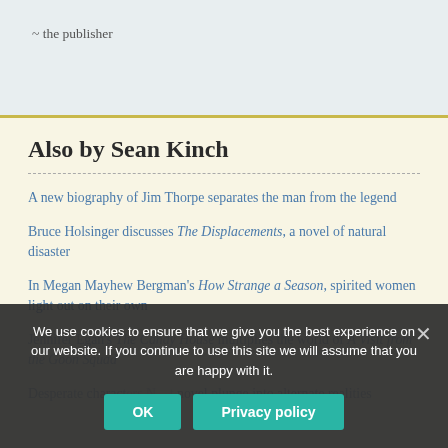~ the publisher
Also by Sean Kinch
A new biography of Jim Thorpe separates the man from the legend
Bruce Holsinger discusses The Displacements, a novel of natural disaster
In Megan Mayhew Bergman's How Strange a Season, spirited women light out on their own
Jennifer Egan's The Candy House multiplies the world of A Visit from the Goon Squad
Desperate characters N... novel plunge into alternate realities
We use cookies to ensure that we give you the best experience on our website. If you continue to use this site we will assume that you are happy with it.